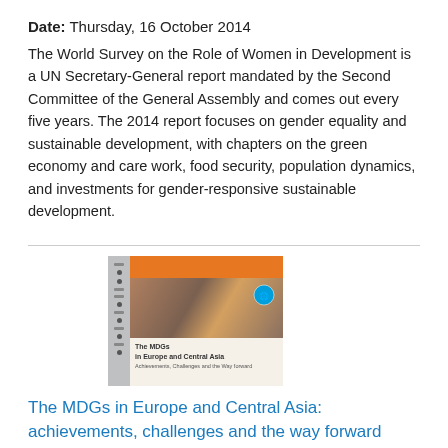Date: Thursday, 16 October 2014
The World Survey on the Role of Women in Development is a UN Secretary-General report mandated by the Second Committee of the General Assembly and comes out every five years. The 2014 report focuses on gender equality and sustainable development, with chapters on the green economy and care work, food security, population dynamics, and investments for gender-responsive sustainable development.
[Figure (photo): Book cover of 'The MDGs in Europe and Central Asia: achievements, challenges and the way forward' report, showing an orange header bar, a sidebar with icons, a photo of a person's eyes, and title text on a cream background with a UN logo.]
The MDGs in Europe and Central Asia: achievements, challenges and the way forward
Date: Sunday, 1 April 2012
This report takes stock of progress made by countries in Europe and Central Asia in reaching the MDGs and offers decision-makers policy-oriented, operationally feasible suggestions for bolstering